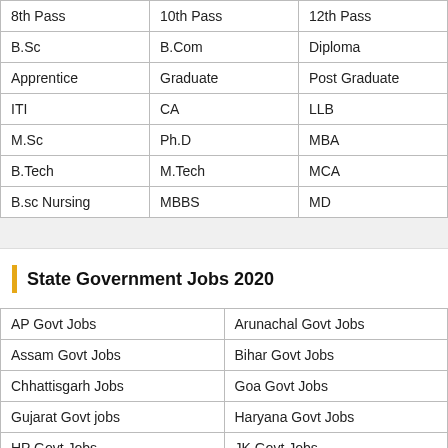| 8th Pass | 10th Pass | 12th Pass |
| B.Sc | B.Com | Diploma |
| Apprentice | Graduate | Post Graduate |
| ITI | CA | LLB |
| M.Sc | Ph.D | MBA |
| B.Tech | M.Tech | MCA |
| B.sc Nursing | MBBS | MD |
State Government Jobs 2020
| AP Govt Jobs | Arunachal Govt Jobs |
| Assam Govt Jobs | Bihar Govt Jobs |
| Chhattisgarh Jobs | Goa Govt Jobs |
| Gujarat Govt jobs | Haryana Govt Jobs |
| HP Govt Jobs | JK Govt Jobs |
| Jharkhand Govt Jobs | Karnataka Govt Jobs |